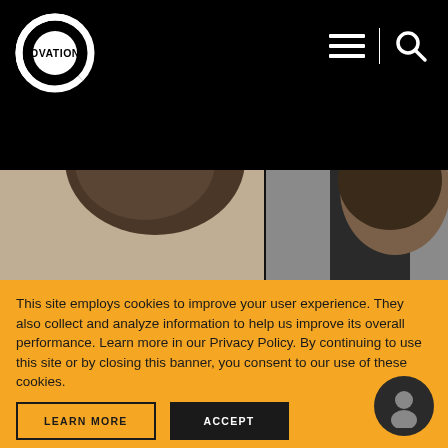Ovation TV navigation header with logo, hamburger menu, and search icon
[Figure (photo): Partial view of two people's heads/faces, cropped at top, on a dark background]
This site employs cookies to improve your user experience. They also collect and analyze information to help us improve its overall performance. Learn more in our Privacy Policy. By continuing to use this site or by closing this banner, you consent to our use of these cookies.
LEARN MORE
ACCEPT